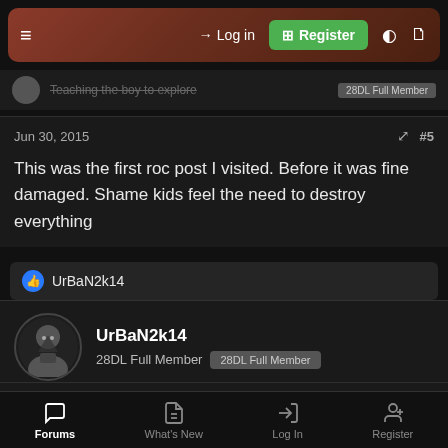Log in | Register
Teaching the boy to explore | 28DL Full Member
Jun 30, 2015 #5
This was the first roc post I visited. Before it was fine damaged. Shame kids feel the need to destroy everything
UrBaN2k14
UrBaN2k14
28DL Full Member 28DL Full Member
Jun 30, 2015 #6
Forums | What's New | Log In | Register